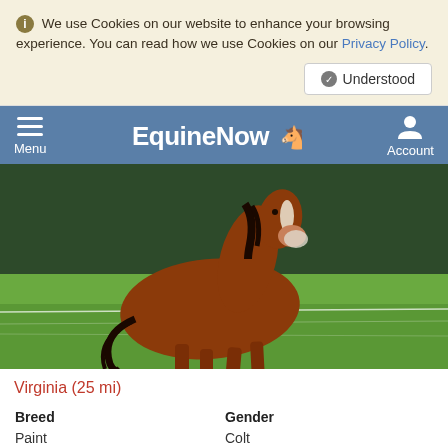We use Cookies on our website to enhance your browsing experience. You can read how we use Cookies on our Privacy Policy.
Understood
EquineNow — Menu | Account
[Figure (photo): A chestnut horse with a white blaze trotting in a green pasture with trees in the background and a wire fence.]
Virginia (25 mi)
| Breed | Gender |
| --- | --- |
| Paint | Colt |